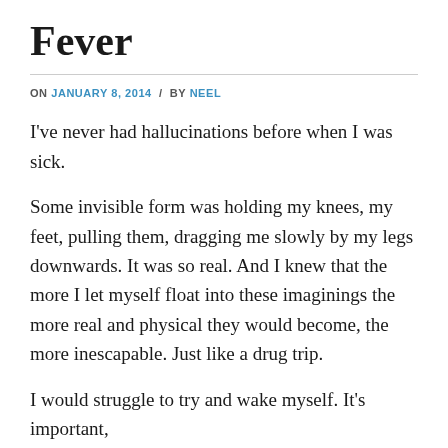Fever
ON JANUARY 8, 2014 / BY NEEL
I've never had hallucinations before when I was sick.
Some invisible form was holding my knees, my feet, pulling them, dragging me slowly by my legs downwards. It was so real. And I knew that the more I let myself float into these imaginings the more real and physical they would become, the more inescapable. Just like a drug trip.
I would struggle to try and wake myself. It's important,